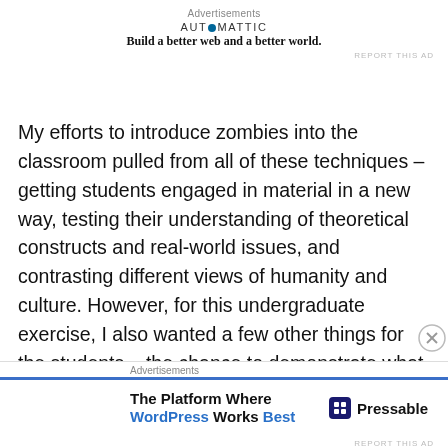Advertisements
[Figure (logo): Automattic logo with tagline: Build a better web and a better world.]
My efforts to introduce zombies into the classroom pulled from all of these techniques – getting students engaged in material in a new way, testing their understanding of theoretical constructs and real-world issues, and contrasting different views of humanity and culture. However, for this undergraduate exercise, I also wanted a few other things for the students – the chance to demonstrate what they had learned throughout the course, show critical thinking skills, and push themselves to think outside the box. Most importantly, I also wanted them to
Advertisements
[Figure (logo): Pressable advertisement: The Platform Where WordPress Works Best]